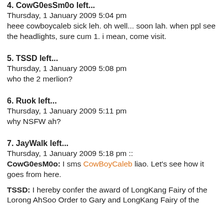4. CowG0esSm0o left...
Thursday, 1 January 2009 5:04 pm
heee cowboycaleb sick leh. oh well... soon lah. when ppl see the headlights, sure cum 1. i mean, come visit.
5. TSSD left...
Thursday, 1 January 2009 5:08 pm
who the 2 merlion?
6. Ruok left...
Thursday, 1 January 2009 5:11 pm
why NSFW ah?
7. JayWalk left...
Thursday, 1 January 2009 5:18 pm ::
CowG0esM0o: I sms CowBoyCaleb liao. Let's see how it goes from here.
TSSD: I hereby confer the award of LongKang Fairy of the Lorong AhSoo Order to Gary and LongKang Fairy of the